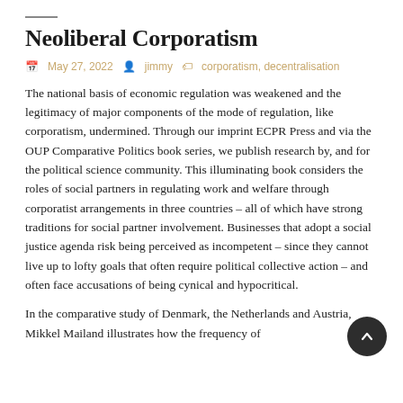Neoliberal Corporatism
May 27, 2022   jimmy   corporatism, decentralisation
The national basis of economic regulation was weakened and the legitimacy of major components of the mode of regulation, like corporatism, undermined. Through our imprint ECPR Press and via the OUP Comparative Politics book series, we publish research by, and for the political science community. This illuminating book considers the roles of social partners in regulating work and welfare through corporatist arrangements in three countries – all of which have strong traditions for social partner involvement. Businesses that adopt a social justice agenda risk being perceived as incompetent – since they cannot live up to lofty goals that often require political collective action – and often face accusations of being cynical and hypocritical.
In the comparative study of Denmark, the Netherlands and Austria, Mikkel Mailand illustrates how the frequency of